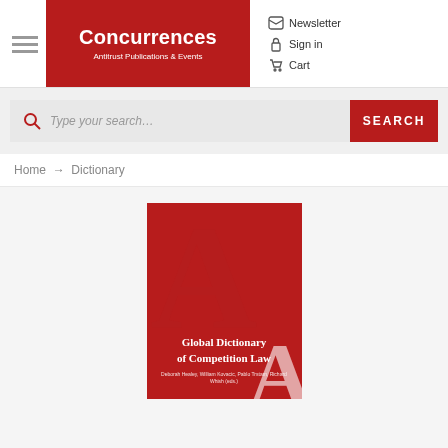[Figure (logo): Concurrences logo — red background with white bold text 'Concurrences' and subtitle 'Antitrust Publications & Events']
Newsletter
Sign in
Cart
Type your search…
SEARCH
Home → Dictionary
[Figure (photo): Book cover of 'Global Dictionary of Competition Law' — dark red background with large letter A watermark and authors listed: Deborah Healey, William Kovacic, Pablo Trstam, Richard Whish (eds.)]